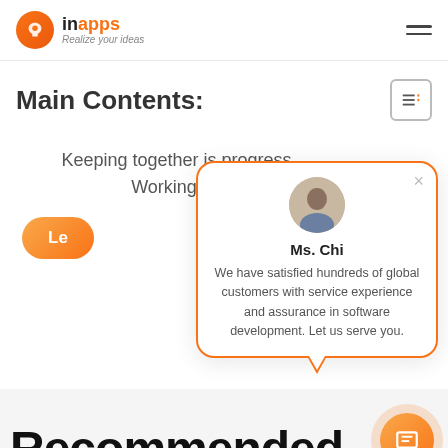InApps — Realize your ideas
Main Contents:
Keeping together is progress. Working tog…
[Figure (screenshot): Chat popup with Ms. Chi avatar, name, and message: We have satisfied hundreds of global customers with service experience and assurance in software development. Let us serve you.]
Recommended